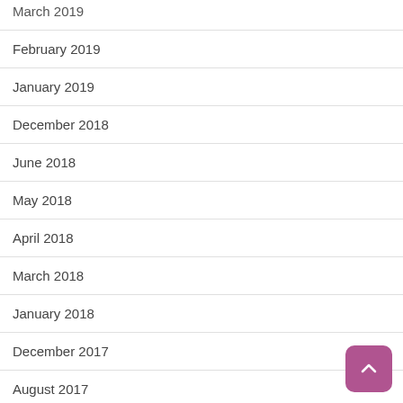March 2019
February 2019
January 2019
December 2018
June 2018
May 2018
April 2018
March 2018
January 2018
December 2017
August 2017
June 2017
April 2017
February 2017
January 2017